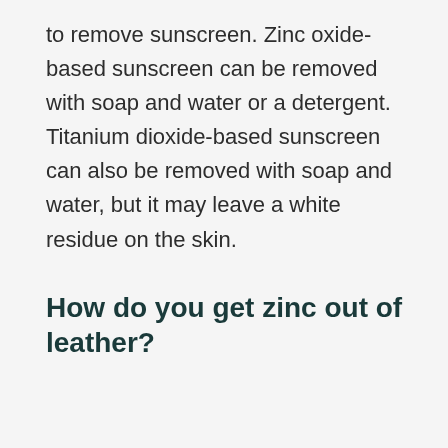to remove sunscreen. Zinc oxide-based sunscreen can be removed with soap and water or a detergent. Titanium dioxide-based sunscreen can also be removed with soap and water, but it may leave a white residue on the skin.
How do you get zinc out of leather?